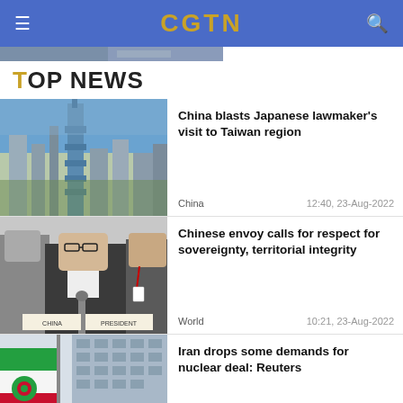CGTN
TOP NEWS
[Figure (photo): Aerial view of Taipei city skyline with Taipei 101 skyscraper]
China blasts Japanese lawmaker's visit to Taiwan region
China   12:40, 23-Aug-2022
[Figure (photo): Chinese diplomat speaking at UN Security Council with CHINA and PRESIDENT nameplates visible]
Chinese envoy calls for respect for sovereignty, territorial integrity
World   10:21, 23-Aug-2022
[Figure (photo): Iranian flag flying in front of a building]
Iran drops some demands for nuclear deal: Reuters
Politics   07:37, 23-Aug-2022